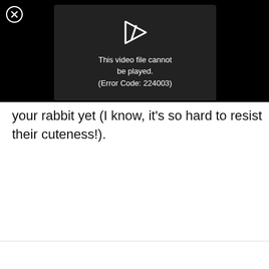[Figure (screenshot): Video player error overlay on black background showing a close (X) button in top-left, and a dark modal box with a play icon and error message: 'This video file cannot be played. (Error Code: 224003)']
your rabbit yet (I know, it's so hard to resist their cuteness!).